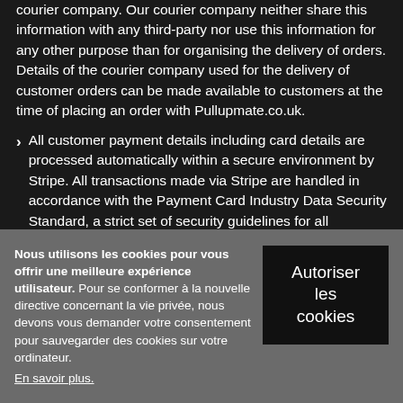courier company. Our courier company neither share this information with any third-party nor use this information for any other purpose than for organising the delivery of orders. Details of the courier company used for the delivery of customer orders can be made available to customers at the time of placing an order with Pullupmate.co.uk.
All customer payment details including card details are processed automatically within a secure environment by Stripe. All transactions made via Stripe are handled in accordance with the Payment Card Industry Data Security Standard, a strict set of security guidelines for all organizations that accept or process card payments.
Nous utilisons les cookies pour vous offrir une meilleure expérience utilisateur. Pour se conformer à la nouvelle directive concernant la vie privée, nous devons vous demander votre consentement pour sauvegarder des cookies sur votre ordinateur. En savoir plus.